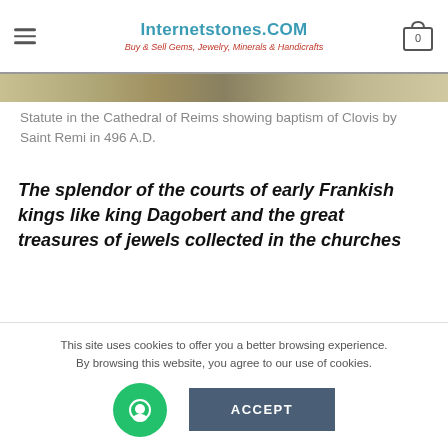Internetstones.COM — Buy & Sell Gems, Jewelry, Minerals & Handicrafts
[Figure (photo): Horizontal image strip showing a statue or artifact, appears to be a dark elongated object against a light background]
Statute in the Cathedral of Reims showing baptism of Clovis by Saint Remi in 496 A.D.
The splendor of the courts of early Frankish kings like king Dagobert and the great treasures of jewels collected in the churches
This site uses cookies to offer you a better browsing experience. By browsing this website, you agree to our use of cookies.